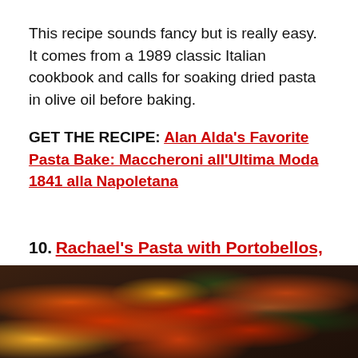This recipe sounds fancy but is really easy. It comes from a 1989 classic Italian cookbook and calls for soaking dried pasta in olive oil before baking.
GET THE RECIPE: Alan Alda's Favorite Pasta Bake: Maccheroni all'Ultima Moda 1841 alla Napoletana
10. Rachael's Pasta with Portobellos, Cherry Tomatoes and Dark Greens
[Figure (photo): Close-up photo of a pasta dish with portobellos, cherry tomatoes, and dark greens in a baking dish on a wooden surface]